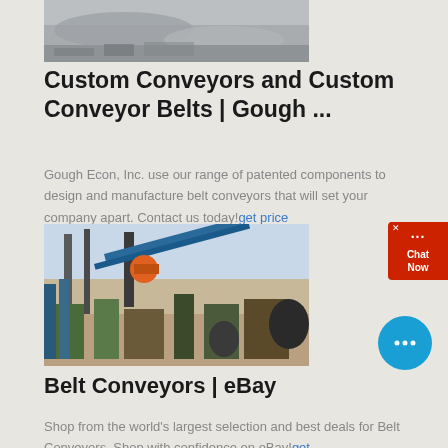[Figure (photo): Aerial/overhead photo of a quarry or mining site with grey rock/gravel]
Custom Conveyors and Custom Conveyor Belts | Gough ...
Gough Econ, Inc. use our range of patented components to design and manufacture belt conveyors that will set your company apart. Contact us today!get price
[Figure (photo): Industrial conveyor system at a mining or quarrying site with blue machinery]
Belt Conveyors | eBay
Shop from the world's largest selection and best deals for Belt Conveyors. Shop with confidence on eBay!get